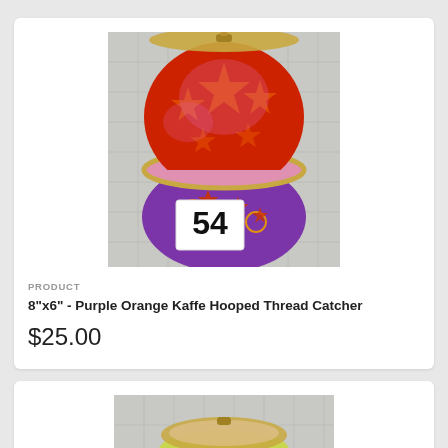[Figure (photo): Photo of a hooped thread catcher bag with red/orange star pattern on top hoop section and purple fabric with orange circles and stars on the bottom, sitting on a light grey grid cloth background. A white tag with the number 54 is visible on the bag.]
PRODUCT
8"x6" - Purple Orange Kaffe Hooped Thread Catcher
$25.00
[Figure (photo): Partial photo of a second hooped thread catcher bag with yellow-green fabric featuring a white circle/dot pattern, on a light grey grid cloth background.]